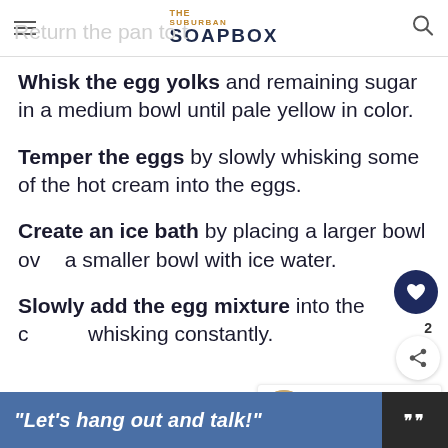THE SUBURBAN SOAPBOX
Return the pan to t…
Whisk the egg yolks and remaining sugar in a medium bowl until pale yellow in color.
Temper the eggs by slowly whisking some of the hot cream into the eggs.
Create an ice bath by placing a larger bowl ov… a smaller bowl with ice water.
Slowly add the egg mixture into the c… whisking constantly.
WHAT'S NEXT → Cherry Chocolate...
“Let’s hang out and talk!”